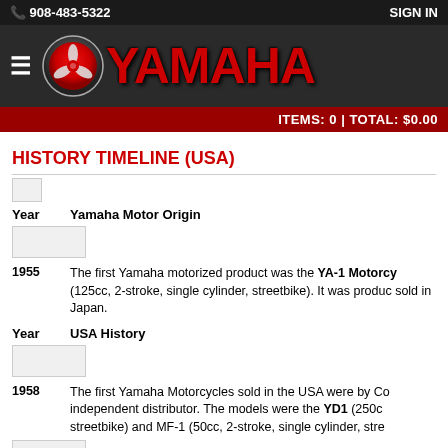908-483-5322  SIGN IN
[Figure (logo): Yamaha logo with tuning fork emblem and red YAMAHA text on dark background]
ITEMS: 0 | TOTAL: $0.00
HISTORY TIMELINE (USA)
| Year | Yamaha Motor Origin |
| --- | --- |
| 1955 | The first Yamaha motorized product was the YA-1 Motorcycle (125cc, 2-stroke, single cylinder, streetbike). It was produced and sold in Japan. |
| Year | USA History |
| --- | --- |
| 1958 | The first Yamaha Motorcycles sold in the USA were by Coha independent distributor. The models were the YD1 (250cc streetbike) and MF-1 (50cc, 2-stroke, single cylinder, stree |
| 1960 | Yamaha International Corporation began selling motorcyc |